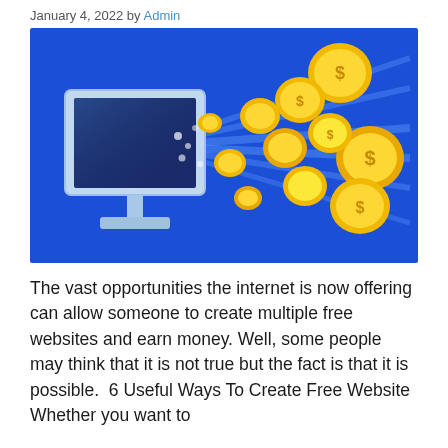January 4, 2022 by Admin
[Figure (illustration): A blue computer monitor with gold coins flying out of its screen against a bright blue background, illustrating online money-making opportunities.]
The vast opportunities the internet is now offering can allow someone to create multiple free websites and earn money. Well, some people may think that it is not true but the fact is that it is possible. 6 Useful Ways To Create Free Website Whether you want to